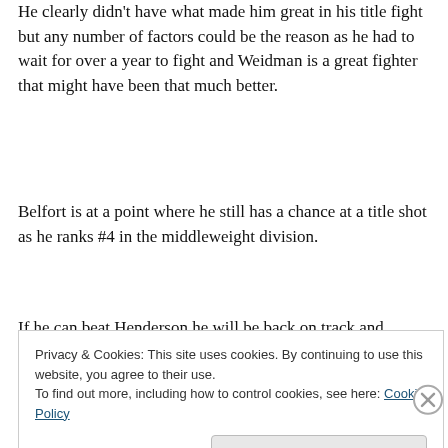He clearly didn't have what made him great in his title fight but any number of factors could be the reason as he had to wait for over a year to fight and Weidman is a great fighter that might have been that much better.
Belfort is at a point where he still has a chance at a title shot as he ranks #4 in the middleweight division.
If he can beat Henderson he will be back on track and
Privacy & Cookies: This site uses cookies. By continuing to use this website, you agree to their use.
To find out more, including how to control cookies, see here: Cookie Policy
Close and accept